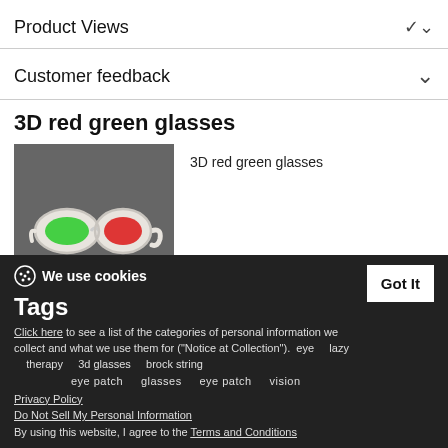Product Views
Customer feedback
3D red green glasses
[Figure (photo): 3D red green glasses with green left lens and red right lens on dark gray background]
3D red green glasses
Tags
eye   lazy   therapy   3d glasses   brock string
eye patch   glasses   eye patch   vision
We use cookies
Click here to see a list of the categories of personal information we collect and what we use them for ("Notice at Collection").
Privacy Policy
Do Not Sell My Personal Information
By using this website, I agree to the Terms and Conditions